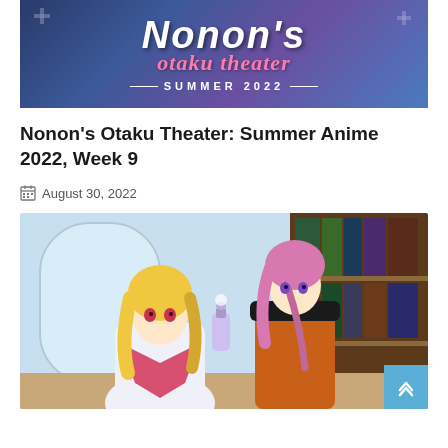[Figure (illustration): Nonon's Otaku Theater Summer 2022 banner with stylized text on a blue/purple gradient background with anime characters]
Nonon's Otaku Theater: Summer Anime 2022, Week 9
August 30, 2022
[Figure (illustration): Anime illustration showing two female characters: one with long blonde hair wearing a pink and white outfit, and another with short pink/purple hair wearing an orange adventurer outfit, in a library/window setting]